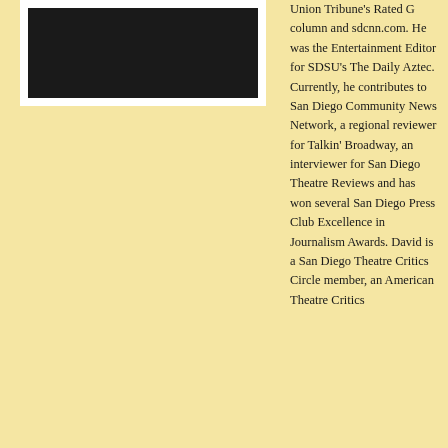[Figure (photo): A dark/black photograph of a person, partially visible]
Union Tribune's Rated G column and sdcnn.com. He was the Entertainment Editor for SDSU's The Daily Aztec. Currently, he contributes to San Diego Community News Network, a regional reviewer for Talkin' Broadway, an interviewer for San Diego Theatre Reviews and has won several San Diego Press Club Excellence in Journalism Awards. David is a San Diego Theatre Critics Circle member, an American Theatre Critics